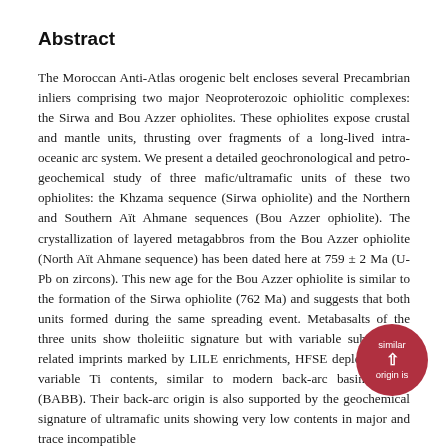Abstract
The Moroccan Anti-Atlas orogenic belt encloses several Precambrian inliers comprising two major Neoproterozoic ophiolitic complexes: the Sirwa and Bou Azzer ophiolites. These ophiolites expose crustal and mantle units, thrusting over fragments of a long-lived intra-oceanic arc system. We present a detailed geochronological and petro-geochemical study of three mafic/ultramafic units of these two ophiolites: the Khzama sequence (Sirwa ophiolite) and the Northern and Southern Aït Ahmane sequences (Bou Azzer ophiolite). The crystallization of layered metagabbros from the Bou Azzer ophiolite (North Aït Ahmane sequence) has been dated here at 759 ± 2 Ma (U-Pb on zircons). This new age for the Bou Azzer ophiolite is similar to the formation of the Sirwa ophiolite (762 Ma) and suggests that both units formed during the same spreading event. Metabasalts of the three units show tholeiitic signature but with variable subduction-related imprints marked by LILE enrichments, HFSE depletions and variable Ti contents, similar to modern back-arc basin basalts (BABB). Their back-arc origin is also supported by the geochemical signature of ultramafic units showing very low contents in major and trace incompatible